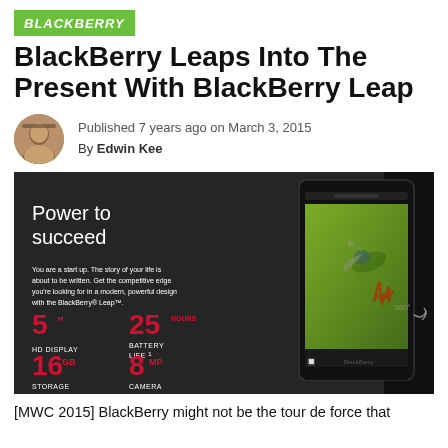BLACKBERRY
BlackBerry Leaps Into The Present With BlackBerry Leap
Published 7 years ago on March 3, 2015
By Edwin Kee
[Figure (photo): BlackBerry Leap promotional image showing phone specs: 5" HD Display, 25 Hours Battery Life, 16GB Storage, 8MP Camera, with phone displaying hummingbird wallpaper and 360° rotation arrows]
[MWC 2015] BlackBerry might not be the tour de force that